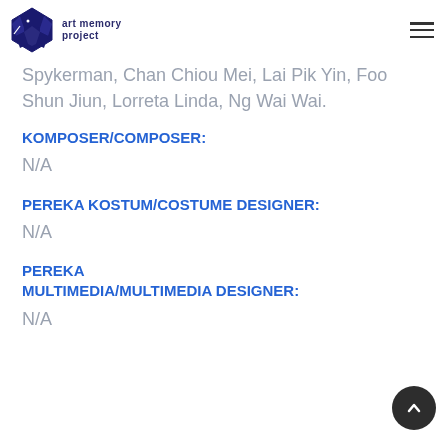art memory project
Spykerman, Chan Chiou Mei, Lai Pik Yin, Foo Shun Jiun, Lorreta Linda, Ng Wai Wai.
KOMPOSER/COMPOSER:
N/A
PEREKA KOSTUM/COSTUME DESIGNER:
N/A
PEREKA MULTIMEDIA/MULTIMEDIA DESIGNER:
N/A